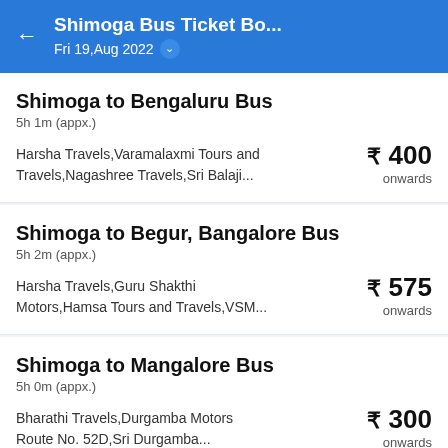Shimoga Bus Ticket Bo... Fri 19,Aug 2022
Shimoga to Bengaluru Bus
5h 1m (appx.)
Harsha Travels,Varamalaxmi Tours and Travels,Nagashree Travels,Sri Balaji...
₹ 400 onwards
Shimoga to Begur, Bangalore Bus
5h 2m (appx.)
Harsha Travels,Guru Shakthi Motors,Hamsa Tours and Travels,VSM...
₹ 575 onwards
Shimoga to Mangalore Bus
5h 0m (appx.)
Bharathi Travels,Durgamba Motors Route No. 52D,Sri Durgamba...
₹ 300 onwards
Shimoga to Pune Bus